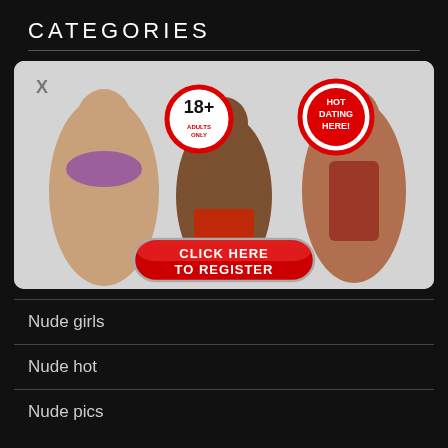CATEGORIES
[Figure (photo): Adult dating advertisement banner with three women, an 18+ badge, a 'HOT DATING HERE!' badge, and a red 'CLICK HERE TO REGISTER' button]
Nude girls
Nude hot
Nude pics